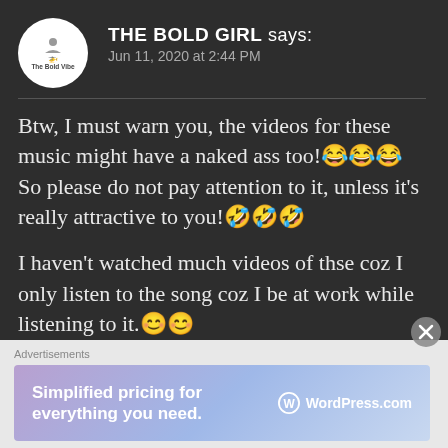THE BOLD GIRL says:
Jun 11, 2020 at 2:44 PM
Btw, I must warn you, the videos for these music might have a naked ass too!😂😂😂 So please do not pay attention to it, unless it's really attractive to you!🤣🤣🤣
I haven't watched much videos of thse coz I only listen to the song coz I be at work while listening to it.😊😊
Advertisements
[Figure (screenshot): WordPress.com advertisement banner: 'Simplified pricing for everything you need.' with WordPress.com logo]